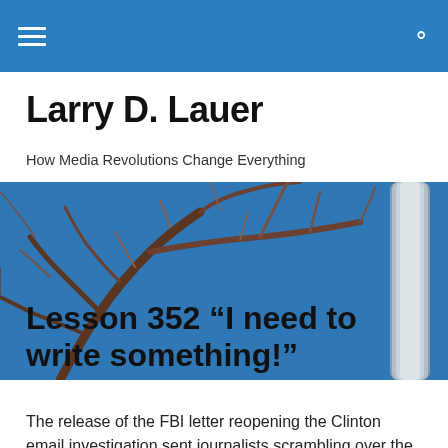Navigation bar with hamburger menu and search icon
Larry D. Lauer
How Media Revolutions Change Everything
[Figure (photo): Photo of bare brown tree branches against a deep blue sky, with a metallic pole on the right side]
Lesson 352 “I need to write something!”
The release of the FBI letter reopening the Clinton email investigation sent journalists scrambling over the weekend